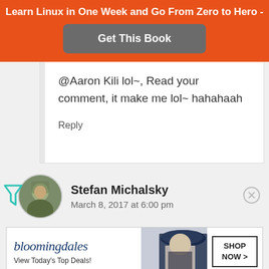Learn Linux in One Week and Go From Zero to Hero -
Get This Book
@Aaron Kili lol~, Read your comment, it make me lol~ hahahaah
Reply
Stefan Michalsky
March 8, 2017 at 6:00 pm
[Figure (infographic): Bloomingdale's advertisement banner with logo, tagline 'View Today's Top Deals!', fashion photo, and SHOP NOW button]